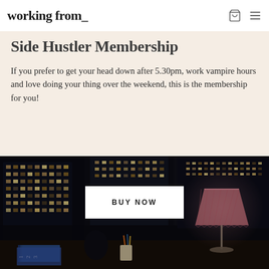working from_
Side Hustler Membership
If you prefer to get your head down after 5.30pm, work vampire hours and love doing your thing over the weekend, this is the membership for you!
[Figure (photo): Dark moody photo of a desk workspace at night with city lights visible through large windows. A pink pleated table lamp is on the right, books and stationery are on the desk. A white 'BUY NOW' button is overlaid in the center of the image.]